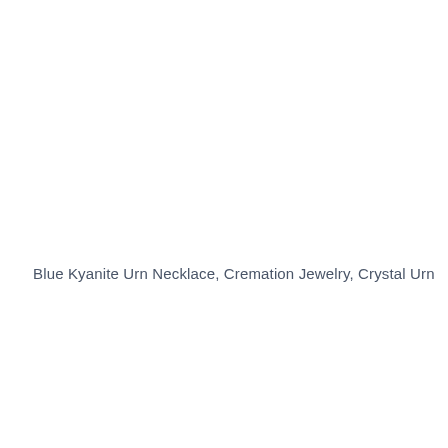Blue Kyanite Urn Necklace, Cremation Jewelry, Crystal Urn